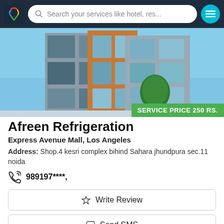Search your services like hotel, res...
[Figure (photo): Modern apartment building exterior with orange and grey panels and large windows against a blue sky]
SERVICE PRICE 250 RS.
Afreen Refrigeration
Express Avenue Mall, Los Angeles
Address: Shop.4 kesri complex bihind Sahara jhundpura sec.11 noida
989197****.
Write Review
Send SMS